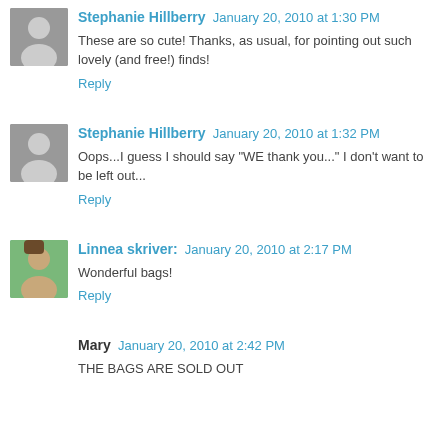Stephanie Hillberry  January 20, 2010 at 1:30 PM
These are so cute! Thanks, as usual, for pointing out such lovely (and free!) finds!
Reply
Stephanie Hillberry  January 20, 2010 at 1:32 PM
Oops...I guess I should say "WE thank you..." I don't want to be left out...
Reply
Linnea skriver:  January 20, 2010 at 2:17 PM
Wonderful bags!
Reply
Mary  January 20, 2010 at 2:42 PM
THE BAGS ARE SOLD OUT